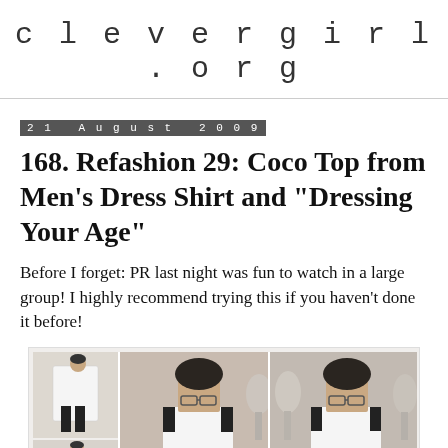clevergirl.org
21 August 2009
168. Refashion 29: Coco Top from Men's Dress Shirt and "Dressing Your Age"
Before I forget: PR last night was fun to watch in a large group! I highly recommend trying this if you haven't done it before!
[Figure (photo): Three photos of a person wearing a white sleeveless top (Coco Top refashioned from a Men's Dress Shirt). Left column shows two small photos of the full outfit with black pants. Center and right show close-up photos of the person wearing glasses and the white sleeveless top in front of dress forms.]